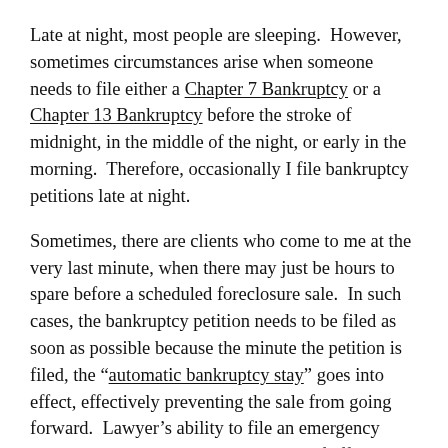Late at night, most people are sleeping.  However, sometimes circumstances arise when someone needs to file either a Chapter 7 Bankruptcy or a Chapter 13 Bankruptcy before the stroke of midnight, in the middle of the night, or early in the morning.  Therefore, occasionally I file bankruptcy petitions late at night.
Sometimes, there are clients who come to me at the very last minute, when there may just be hours to spare before a scheduled foreclosure sale.  In such cases, the bankruptcy petition needs to be filed as soon as possible because the minute the petition is filed, the “automatic bankruptcy stay” goes into effect, effectively preventing the sale from going forward.  Lawyer’s ability to file an emergency bankruptcy cases is an important part of effective bankruptcy representation.